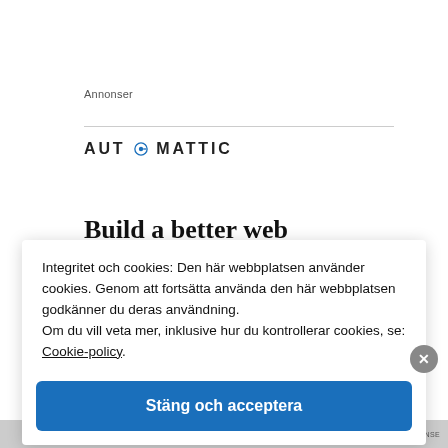Annonser
[Figure (logo): Automattic logo — wordmark in uppercase letters with a compass/at symbol replacing the letter O in AUTOMATTIC]
Build a better web
Integritet och cookies: Den här webbplatsen använder cookies. Genom att fortsätta använda den här webbplatsen godkänner du deras användning.
Om du vill veta mer, inklusive hur du kontrollerar cookies, se: Cookie-policy.
Stäng och acceptera